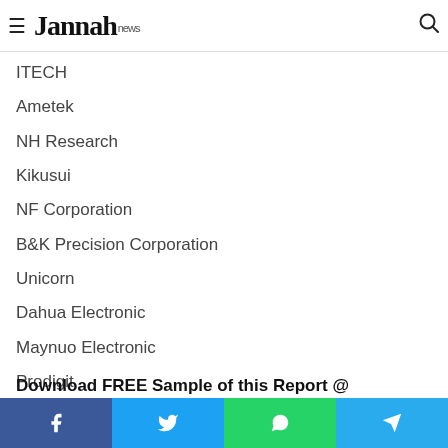Jannah news
ITECH
Ametek
NH Research
Kikusui
NF Corporation
B&K Precision Corporation
Unicorn
Dahua Electronic
Maynuo Electronic
Prodigit
Array Electronic
Ainuo Instrument
Download FREE Sample of this Report @
Facebook Twitter WhatsApp Telegram